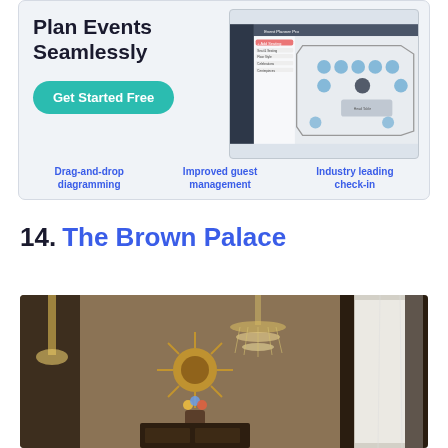[Figure (screenshot): Advertisement banner for an event planning software showing 'Plan Events Seamlessly' with a Get Started Free button and a screenshot of a venue floor plan diagramming tool. Below the ad are three feature callouts: Drag-and-drop diagramming, Improved guest management, Industry leading check-in.]
14. The Brown Palace
[Figure (photo): Interior photo of The Brown Palace hotel showing elegant lobby or room with a decorative sunflower wall art, flower arrangement, dark wood furniture, a large crystal chandelier, tall columns, and natural light from large windows with sheer curtains.]